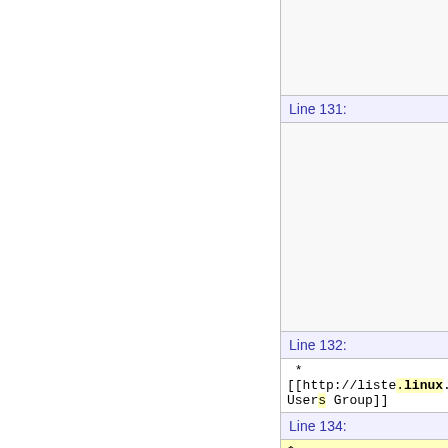|  |  |
| Line 131: |  |
|  |  |
| Line 132: |  |
| * [[http://liste.linux.org.tr/mai... Users Group]] |  |
| Line 134: |  |
| * [[http://exception.org.ua|E... Ukraine * [[http://... |  |